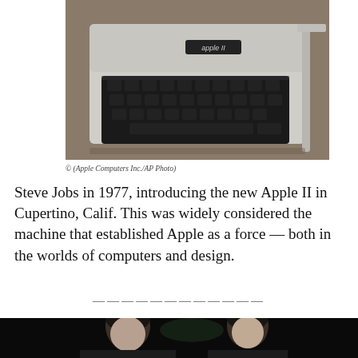[Figure (photo): Black and white close-up photograph of an Apple II computer keyboard and case, with the Apple II logo visible on the top of the machine.]
© (Apple Computers Inc./AP Photo)
Steve Jobs in 1977, introducing the new Apple II in Cupertino, Calif. This was widely considered the machine that established Apple as a force — both in the worlds of computers and design.
[Figure (photo): Black and white photograph of two men (Steve Jobs and another person) at what appears to be a formal event, with dark background and palm leaves visible.]